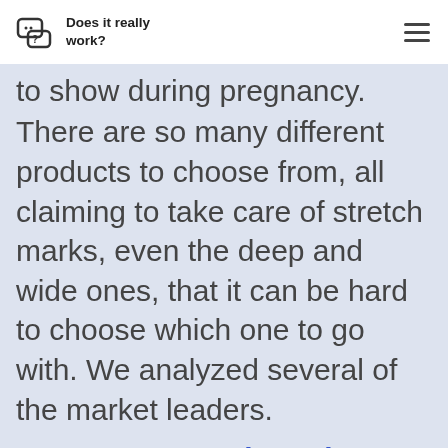Does it really work?
to show during pregnancy. There are so many different products to choose from, all claiming to take care of stretch marks, even the deep and wide ones, that it can be hard to choose which one to go with. We analyzed several of the market leaders.
Go to our Stretch Mark Cream Reviews